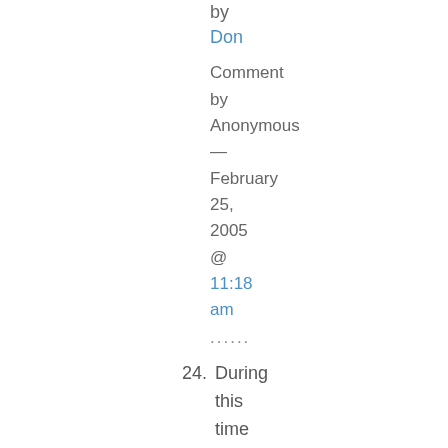by Don
Comment by Anonymous — February 25, 2005 @ 11:18 am
......
24. During this time of difficulty I pray that you will find comfort in